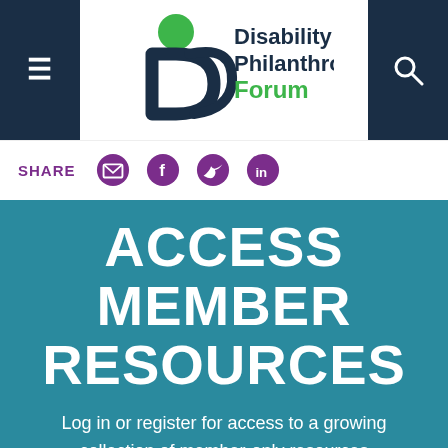[Figure (logo): Disability & Philanthropy Forum logo with green circle and stylized D&P symbol]
SHARE
ACCESS MEMBER RESOURCES
Log in or register for access to a growing collection of member-only resources tailored to philanthropy.